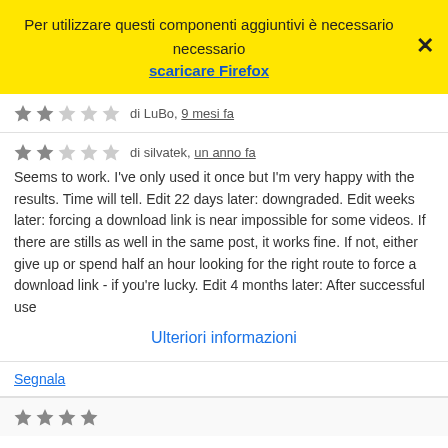Per utilizzare questi componenti aggiuntivi è necessario scaricare Firefox
di LuBo, 9 mesi fa
di silvatek, un anno fa
Seems to work. I've only used it once but I'm very happy with the results. Time will tell. Edit 22 days later: downgraded. Edit weeks later: forcing a download link is near impossible for some videos. If there are stills as well in the same post, it works fine. If not, either give up or spend half an hour looking for the right route to force a download link - if you're lucky. Edit 4 months later: After successful use
Ulteriori informazioni
Segnala